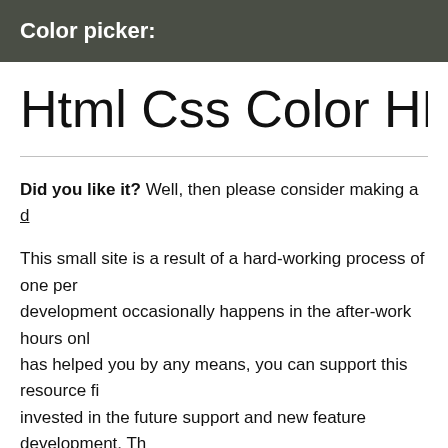Color picker:
Html Css Color HEX #F9
Did you like it? Well, then please consider making a d...

This small site is a result of a hard-working process of one per... development occasionally happens in the after-work hours onl... has helped you by any means, you can support this resource fi... invested in the future support and new feature development. Th...